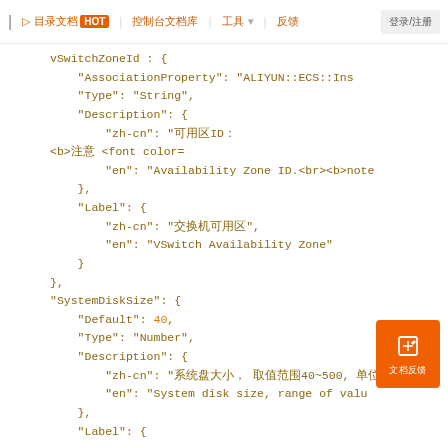HOT [nav items in Chinese] 反馈
vSwitchZoneId : {
  "AssociationProperty": "ALIYUN::ECS::Ins
  "Type": "String",
  "Description": {
    "zh-cn": "可用区ID<br><b>注意 <font color=
    "en": "Availability Zone ID.<br><b>note
  },
  "Label": {
    "zh-cn": "交换机可用区",
    "en": "VSwitch Availability Zone"
  }
},
"SystemDiskSize": {
  "Default": 40,
  "Type": "Number",
  "Description": {
    "zh-cn": "系统盘大小, 取值范围40~500, 单位为GB。",
    "en": "System disk size, range of valu
  },
  "Label": {